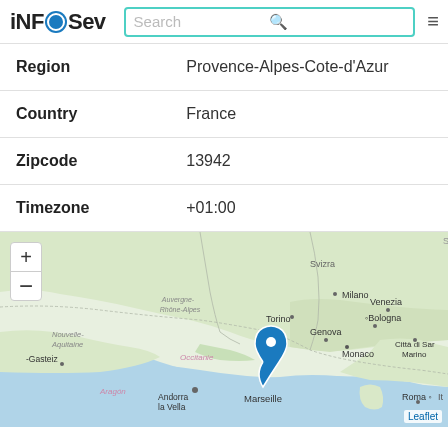iNFOSev — Search bar with navigation
| Region | Provence-Alpes-Cote-d'Azur |
| Country | France |
| Zipcode | 13942 |
| Timezone | +01:00 |
[Figure (map): Interactive Leaflet map centered on Marseille, France showing southern France, northern Italy, Switzerland, Monaco, Andorra. Blue location pin marker on Marseille. Map shows regions labeled: Nouvelle-Aquitaine, Auvergne-Rhône-Alpes, Occitanie, Aragón. Cities: Milano, Venezia, Torino, Genova, Monaco, Bologna, Roma, Città di San Marino, Andorra la Vella, Gasteiz, Marseille. Svizra label for Switzerland. Zoom in/out controls top-left. Leaflet attribution bottom-right.]